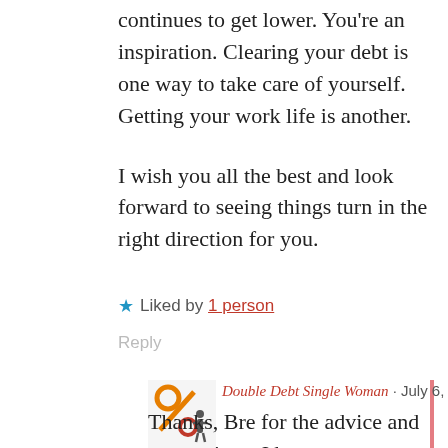continues to get lower. You're an inspiration. Clearing your debt is one way to take care of yourself. Getting your work life is another.
I wish you all the best and look forward to seeing things turn in the right direction for you.
★ Liked by 1 person
Reply
[Figure (logo): Double Debt Single Woman blog avatar icon showing a percent sign and a figure]
Double Debt Single Woman · July 6, 2019
Thanks, Bre for the advice and suggestions. I have some thinking to do about my next steps.